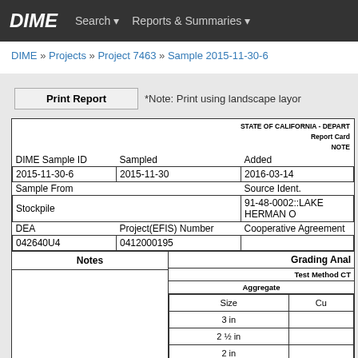DIME   Search ▾   Reports & Summaries ▾
DIME » Projects » Project 7463 » Sample 2015-11-30-6
Print Report   *Note: Print using landscape layou
| DIME Sample ID | Sampled | Added |
| --- | --- | --- |
| 2015-11-30-6 | 2015-11-30 | 2016-03-14 |
| Sample From |  | Source Ident. |
| Stockpile |  | 91-48-0002::LAKE HERMAN O |
| DEA | Project(EFIS) Number | Cooperative Agreement |
| 042640U4 | 0412000195 |  |
| Notes | Grading Anal | Test Method CT | Aggregate | Size | Cu |
| --- | --- | --- | --- | --- | --- |
|  | 3 in |  |
|  | 2 ½ in |  |
|  | 2 in |  |
|  | 1 ½ in |  |
|  | 1 in |  |